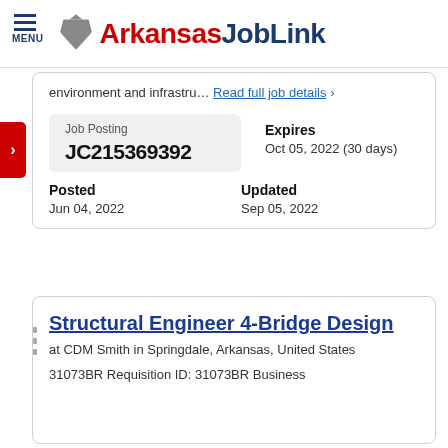Arkansas JobLink
environment and infrastru… Read full job details >
| Job Posting | Expires | Posted | Updated |
| --- | --- | --- | --- |
| JC215369392 | Oct 05, 2022 (30 days) | Jun 04, 2022 | Sep 05, 2022 |
Structural Engineer 4-Bridge Design
at CDM Smith in Springdale, Arkansas, United States
31073BR Requisition ID: 31073BR Business